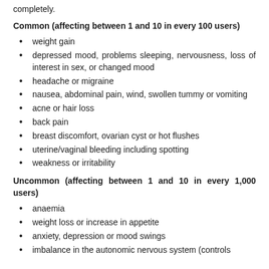completely.
Common (affecting between 1 and 10 in every 100 users)
weight gain
depressed mood, problems sleeping, nervousness, loss of interest in sex, or changed mood
headache or migraine
nausea, abdominal pain, wind, swollen tummy or vomiting
acne or hair loss
back pain
breast discomfort, ovarian cyst or hot flushes
uterine/vaginal bleeding including spotting
weakness or irritability
Uncommon (affecting between 1 and 10 in every 1,000 users)
anaemia
weight loss or increase in appetite
anxiety, depression or mood swings
imbalance in the autonomic nervous system (controls